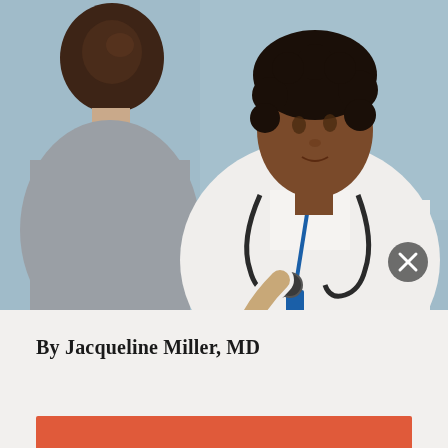[Figure (photo): A doctor in a white coat with a stethoscope sits across from a patient during a consultation. The doctor, a Black woman with curly hair, is holding a pen and appears to be taking notes or writing. The patient is seen from behind, with hair in a bun, wearing a light gray top. There is a circular close/dismiss button (X) in the lower right area of the image.]
By Jacqueline Miller, MD